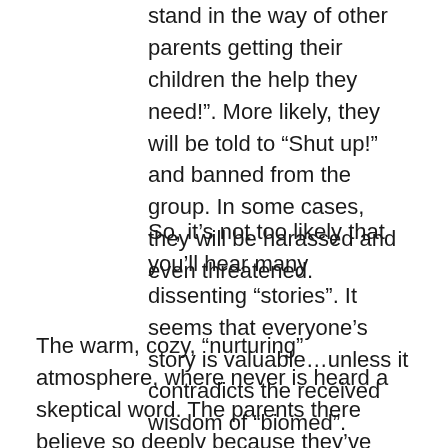stand in the way of other parents getting their children the help they need!". More likely, they will be told to “Shut up!” and banned from the group. In some cases, they will be harassed and even threatened.
So, it’s not too likely that you’ll hear many dissenting “stories”. It seems that everyone’s story is valuable…unless it contradicts the received wisdom of “biomed”.
The warm, cozy, “nurturing” atmosphere, where never is heard a skeptical word. The parents there believe so deeply because they’ve never been exposed to data or criticisms that contradict their world view. Not surprisingly, they construct